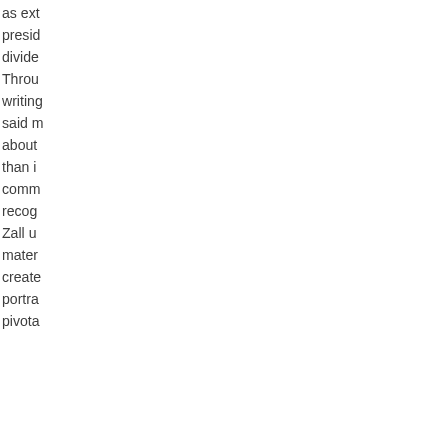as ex... presid... divide... Throu... writing... said m... about... than i... comm... recog... Zall u... mater... create... portra... pivota...
Vorangehend
Im Buch
less